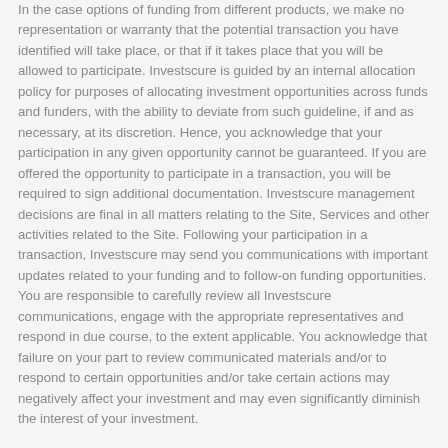In the case options of funding from different products, we make no representation or warranty that the potential transaction you have identified will take place, or that if it takes place that you will be allowed to participate. Investscure is guided by an internal allocation policy for purposes of allocating investment opportunities across funds and funders, with the ability to deviate from such guideline, if and as necessary, at its discretion. Hence, you acknowledge that your participation in any given opportunity cannot be guaranteed. If you are offered the opportunity to participate in a transaction, you will be required to sign additional documentation. Investscure management decisions are final in all matters relating to the Site, Services and other activities related to the Site. Following your participation in a transaction, Investscure may send you communications with important updates related to your funding and to follow-on funding opportunities. You are responsible to carefully review all Investscure communications, engage with the appropriate representatives and respond in due course, to the extent applicable. You acknowledge that failure on your part to review communicated materials and/or to respond to certain opportunities and/or take certain actions may negatively affect your investment and may even significantly diminish the interest of your investment.
Investscure can decide to reduce the interest rate offered to his